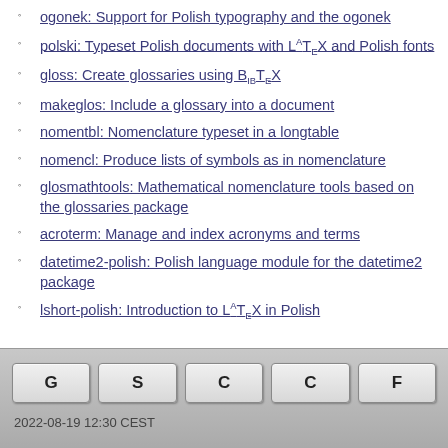ogonek: Support for Polish typography and the ogonek
polski: Typeset Polish documents with LaTeX and Polish fonts
gloss: Create glossaries using BibTeX
makeglos: Include a glossary into a document
nomentbl: Nomenclature typeset in a longtable
nomencl: Produce lists of symbols as in nomenclature
glosmathtools: Mathematical nomenclature tools based on the glossaries package
acroterm: Manage and index acronyms and terms
datetime2-polish: Polish language module for the datetime2 package
lshort-polish: Introduction to LaTeX in Polish
G S C C F  2022-08-19 12:30 CEST